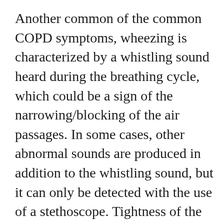Another common of the common COPD symptoms, wheezing is characterized by a whistling sound heard during the breathing cycle, which could be a sign of the narrowing/blocking of the air passages. In some cases, other abnormal sounds are produced in addition to the whistling sound, but it can only be detected with the use of a stethoscope. Tightness of the chest, in turn, makes automatic breathing an effort due to the feeling of pressure within the chest cavity, which can also be a symptom for minor lung infections. Having a tight chest can make deep breathing painful, which ultimately results in breathing short and shallow. Though of course, these two may be absent, but they